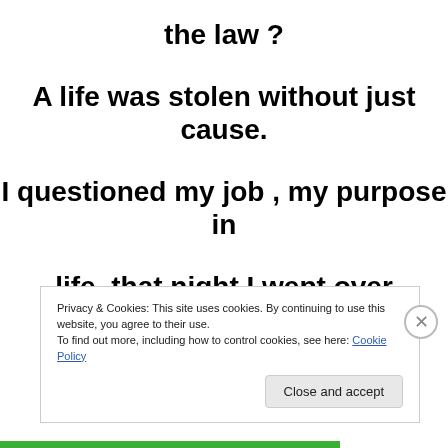the law ?
A life was stolen without just cause.
I questioned my job , my purpose in
life, that night I wept over sleeping
babies and wife.
Privacy & Cookies: This site uses cookies. By continuing to use this website, you agree to their use.
To find out more, including how to control cookies, see here: Cookie Policy
Close and accept